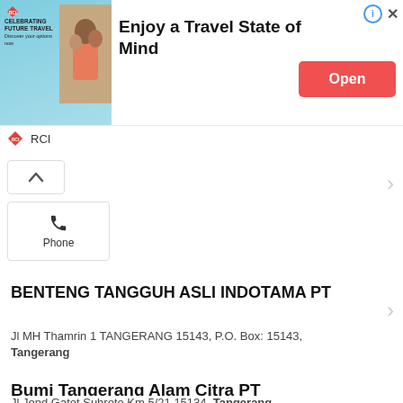[Figure (screenshot): RCI advertisement banner: 'Celebrating Future Travel' with people photo, text 'Enjoy a Travel State of Mind', and an 'Open' button]
RCI
Phone
BENTENG TANGGUH ASLI INDOTAMA PT
Jl MH Thamrin 1 TANGERANG 15143, P.O. Box: 15143, Tangerang
Phone
Bumi Tangerang Alam Citra PT
Jl Jend Gatot Subroto Km 5/21 15134, Tangerang